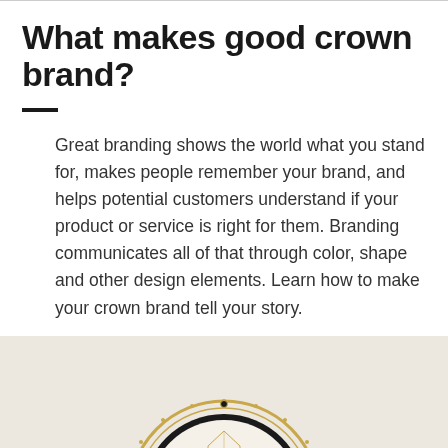What makes good crown brand?
Great branding shows the world what you stand for, makes people remember your brand, and helps potential customers understand if your product or service is right for them. Branding communicates all of that through color, shape and other design elements. Learn how to make your crown brand tell your story.
[Figure (illustration): Circular crown brand illustration/emblem visible at the bottom of the page, partially cropped, with ornate decorative design elements on a textured beige background.]